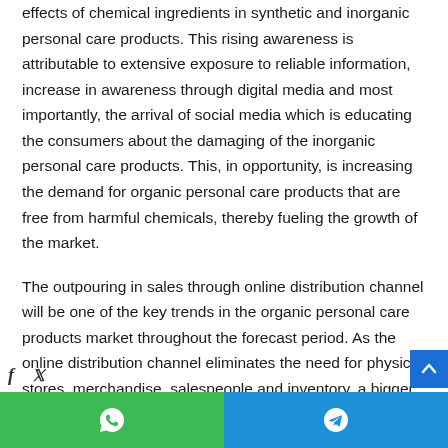effects of chemical ingredients in synthetic and inorganic personal care products. This rising awareness is attributable to extensive exposure to reliable information, increase in awareness through digital media and most importantly, the arrival of social media which is educating the consumers about the damaging of the inorganic personal care products. This, in opportunity, is increasing the demand for organic personal care products that are free from harmful chemicals, thereby fueling the growth of the market.
The outpouring in sales through online distribution channel will be one of the key trends in the organic personal care products market throughout the forecast period. As the online distribution channel eliminates the need for physical stores, merchandise, salespeople and inventory, a bigger number of both established and upstarts are focusing on the